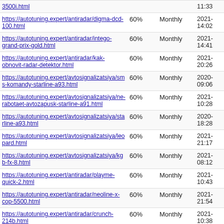| URL | Priority | Change Freq | Last Modified |
| --- | --- | --- | --- |
| https://autotuning.expert/antiradar/digma-dcd-100.html | 60% | Monthly | 2021-
14:02 |
| https://autotuning.expert/antiradar/intego-grand-prix-gold.html | 60% | Monthly | 2021-
14:41 |
| https://autotuning.expert/antiradar/kak-obnovit-radar-detektor.html | 60% | Monthly | 2021-
20:26 |
| https://autotuning.expert/avtosignalizatsiya/sms-komandy-starline-a93.html | 60% | Monthly | 2020-
09:06 |
| https://autotuning.expert/avtosignalizatsiya/ne-rabotaet-avtozapusk-starline-a91.html | 60% | Monthly | 2021-
10:28 |
| https://autotuning.expert/avtosignalizatsiya/starline-a93.html | 60% | Monthly | 2020-
18:28 |
| https://autotuning.expert/avtosignalizatsiya/leopard.html | 60% | Monthly | 2021-
21:17 |
| https://autotuning.expert/avtosignalizatsiya/kgb-fx-8.html | 60% | Monthly | 2021-
08:12 |
| https://autotuning.expert/antiradar/playme-quick-2.html | 60% | Monthly | 2021-
10:43 |
| https://autotuning.expert/antiradar/neoline-x-cop-5500.html | 60% | Monthly | 2021-
21:54 |
| https://autotuning.expert/antiradar/crunch-214b.html | 60% | Monthly | 2021-
10:38 |
| https://autotuning.expert/antiradar/street-storm-str-9530bt-glw.html | 60% | Monthly | 2021-
10:36 |
| https://autotuning.expert/avtosignalizatsiya/phantom.html | 60% | Monthly | 2021-
07:42 |
| https://autotuning.expert/antiradar/intego-grand-prix-platinum.html | 60% | Monthly | 2021-
20:13 |
| https://autotuning.expert/avtosignalizatsiya/pantera-slk-675rs-ver-2.html | 60% | Monthly | 2021-
10:01 |
| https://autotuning.expert/avtosignalizatsiya/pandora-... | 60% | Monthly | 2021- |